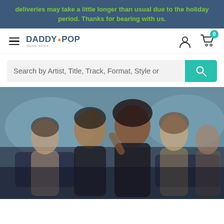deliveries may take a little longer than usual due to the holiday period. Thanks for bearing with us.
[Figure (screenshot): DaddyPop website navigation bar with hamburger menu, logo, user icon, and cart with 0 items]
Search by Artist, Title, Track, Format, Style or
[Figure (photo): Group of performers/artists posing together, blurred background with vehicles]